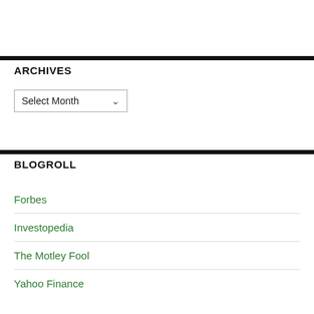ARCHIVES
Select Month
BLOGROLL
Forbes
Investopedia
The Motley Fool
Yahoo Finance